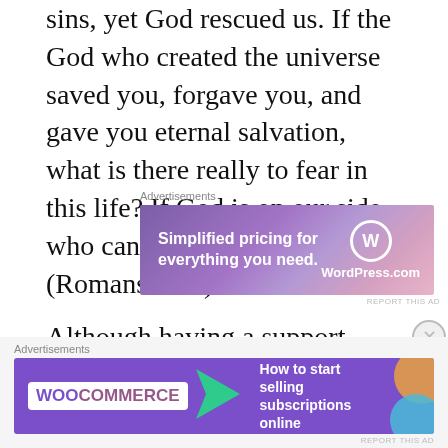sins, yet God rescued us. If the God who created the universe saved you, forgave you, and gave you eternal salvation, what is there really to fear in this life? If God is on our side, who can stand against us? (Romans 8:31).
[Figure (other): Advertisement banner for WordPress.com with text 'Simplified pricing for everything you need.' and WordPress logo on a purple-pink gradient background]
Although having a support system of a spouse, family, and friends is of vital importance, people will disappoint us because all of us are
[Figure (other): Advertisement banner for WooCommerce with text 'How to start selling subscriptions online' on a purple background with green arrow and decorative elements]